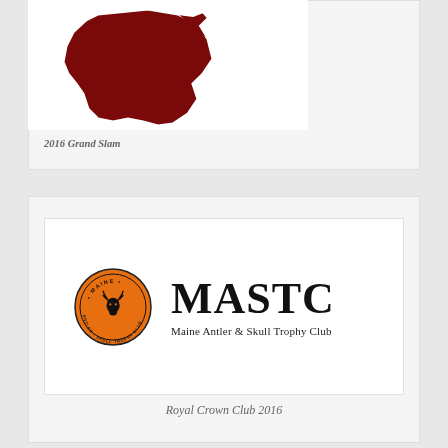[Figure (illustration): Cropped top portion showing a dark red/maroon silhouette of the state of Maine with a white outline border, on a white background card]
2016 Grand Slam
[Figure (logo): MASTC logo: orange circular badge with moose antler and text 'MAINE ANTLER & SKULL TROPHY CLUB' around the border, next to large bold text 'MASTC' and subtitle 'Maine Antler & Skull Trophy Club']
Royal Crown Club 2016